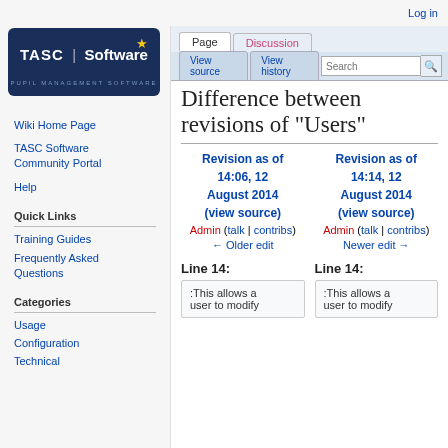Log in
[Figure (logo): TASC Software logo with star and 'Pupil Management Software' subtitle on dark blue background]
Wiki Home Page
TASC Software Community Portal
Help
Quick Links
Training Guides
Frequently Asked Questions
Categories
Usage
Configuration
Technical
Difference between revisions of "Users"
Revision as of 14:06, 12 August 2014 (view source) Admin (talk | contribs) ← Older edit
Revision as of 14:14, 12 August 2014 (view source) Admin (talk | contribs) Newer edit →
Line 14:
Line 14:
:This allows a user to modify
:This allows a user to modify